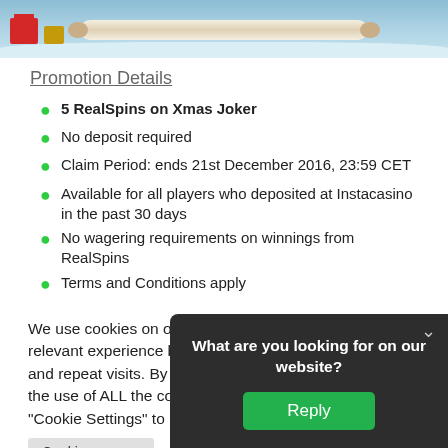[Figure (illustration): Christmas themed banner with scroll, gifts, and winter scene]
Promotion Details
5 RealSpins on Xmas Joker
No deposit required
Claim Period: ends 21st December 2016, 23:59 CET
Available for all players who deposited at Instacasino in the past 30 days
No wagering requirements on winnings from RealSpins
Terms and Conditions apply
We use cookies on our website to give you the most relevant experience by remembering your preferences and repeat visits. By clicking "Accept All", you consent to the use of ALL the cookies. However, you may visit "Cookie Settings" to provide a controlled consent.
Cookie Settings
What are you looking for on our website?
Reply